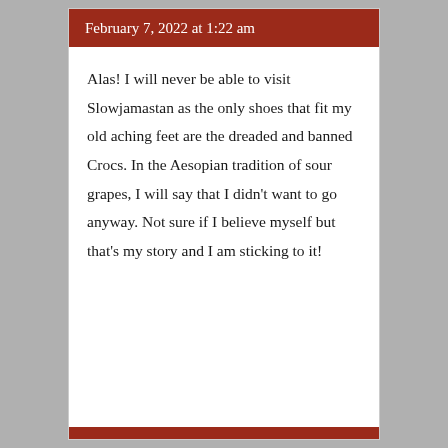February 7, 2022 at 1:22 am
Alas! I will never be able to visit Slowjamastan as the only shoes that fit my old aching feet are the dreaded and banned Crocs. In the Aesopian tradition of sour grapes, I will say that I didn’t want to go anyway. Not sure if I believe myself but that’s my story and I am sticking to it!